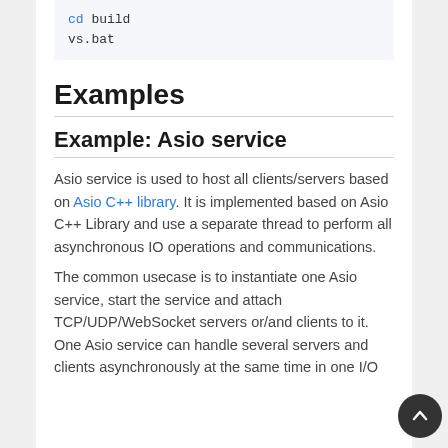cd build
vs.bat
Examples
Example: Asio service
Asio service is used to host all clients/servers based on Asio C++ library. It is implemented based on Asio C++ Library and use a separate thread to perform all asynchronous IO operations and communications.
The common usecase is to instantiate one Asio service, start the service and attach TCP/UDP/WebSocket servers or/and clients to it. One Asio service can handle several servers and clients asynchronously at the same time in one I/O